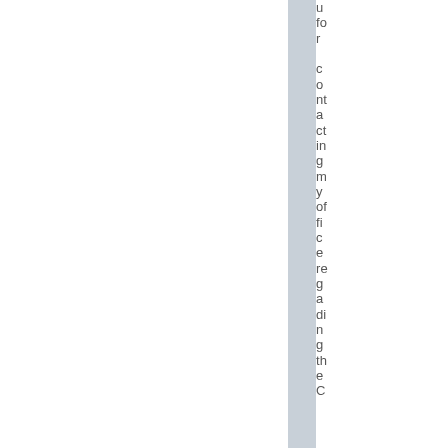u fo r c o nt a ct in g m y of fi c e re g a di n g th e C